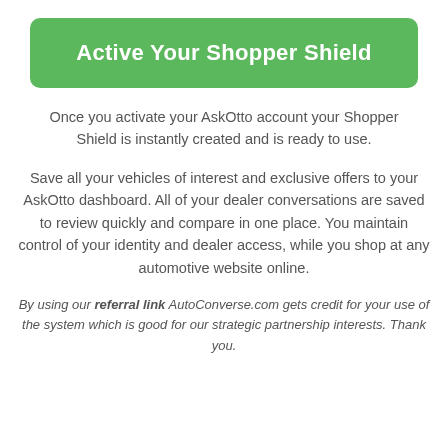Active Your Shopper Shield
Once you activate your AskOtto account your Shopper Shield is instantly created and is ready to use.
Save all your vehicles of interest and exclusive offers to your AskOtto dashboard. All of your dealer conversations are saved to review quickly and compare in one place. You maintain control of your identity and dealer access, while you shop at any automotive website online.
By using our referral link AutoConverse.com gets credit for your use of the system which is good for our strategic partnership interests. Thank you.